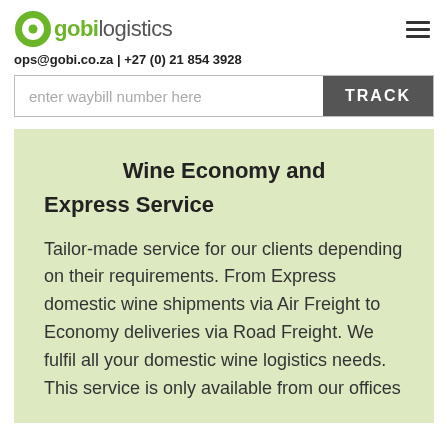gobi logistics
ops@gobi.co.za | +27 (0) 21 854 3928
enter waybill number here  TRACK
Wine Economy and Express Service
Tailor-made service for our clients depending on their requirements. From Express domestic wine shipments via Air Freight to Economy deliveries via Road Freight. We fulfil all your domestic wine logistics needs. This service is only available from our offices